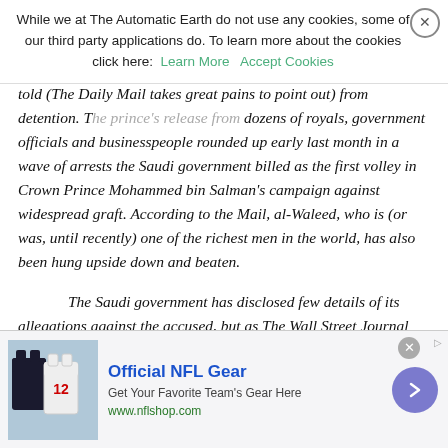While we at The Automatic Earth do not use any cookies, some of our third party applications do. To learn more about the cookies click here: Learn More   Accept Cookies
detention. The prince's release from detention. The prince's release from dozens of royals, government officials and businesspeople rounded up early last month in a wave of arrests the Saudi government billed as the first volley in Crown Prince Mohammed bin Salman's campaign against widespread graft. According to the Mail, al-Waleed, who is (or was, until recently) one of the richest men in the world, has also been hung upside down and beaten.
The Saudi government has disclosed few details of its allegations against the accused, but as The Wall Street Journal reports, people familiar with the matter said the $6 billion Saudi officials are demanding from Prince al-Waleed, a large stakeholder in Western businesses like Twitter, is among the highest figures they have sought from those arrested. While the prince's fortune is estimated at $18.7 billion by Forbes – which would make him the Middle East's wealthiest individual – he has indicated that he believes raising and handing over...
[Figure (screenshot): Advertisement banner for Official NFL Gear with NFL jerseys image, text 'Get Your Favorite Team's Gear Here', URL www.nflshop.com, and a purple arrow button]